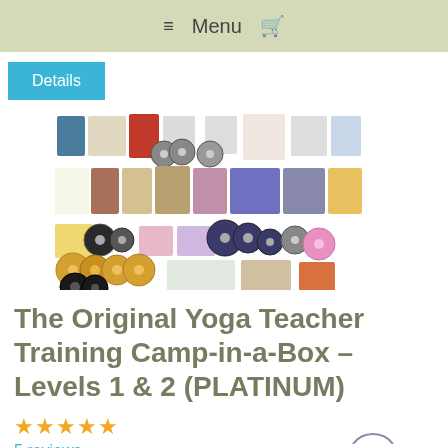≡ Menu 🛒
Details
[Figure (photo): Collection of yoga training materials including books, CDs, DVDs, and other educational resources spread out in a collage]
The Original Yoga Teacher Training Camp-in-a-Box – Levels 1 & 2 (PLATINUM)
★★★★★
5 reviews
$1,497.00